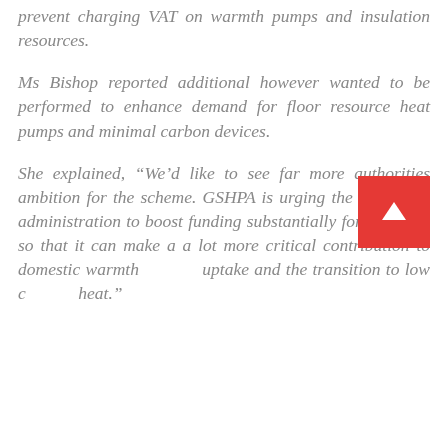prevent charging VAT on warmth pumps and insulation resources.
Ms Bishop reported additional however wanted to be performed to enhance demand for floor resource heat pumps and minimal carbon devices.
She explained, “We’d like to see far more authorities ambition for the scheme. GSHPA is urging the governing administration to boost funding substantially for the BUS, so that it can make a a lot more critical contribution to domestic warmth uptake and the transition to low c heat.”